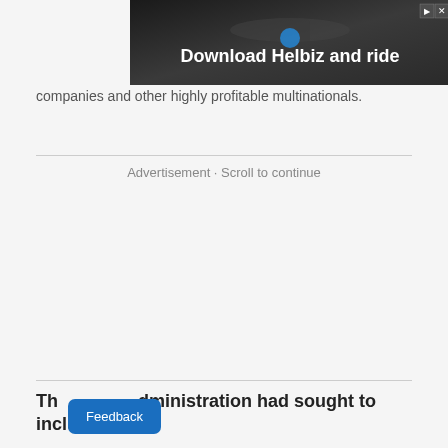[Figure (screenshot): Advertisement banner for Helbiz with dark background showing bicycle handlebars and text 'Download Helbiz and ride']
companies and other highly profitable multinationals.
Advertisement · Scroll to continue
The administration had sought to include tax
Feedback